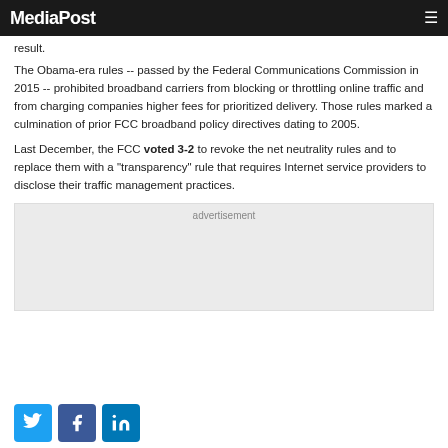MediaPost
result.
The Obama-era rules -- passed by the Federal Communications Commission in 2015 -- prohibited broadband carriers from blocking or throttling online traffic and from charging companies higher fees for prioritized delivery. Those rules marked a culmination of prior FCC broadband policy directives dating to 2005.
Last December, the FCC voted 3-2 to revoke the net neutrality rules and to replace them with a "transparency" rule that requires Internet service providers to disclose their traffic management practices.
[Figure (other): Advertisement placeholder box]
[Figure (other): Social media share buttons: Twitter, Facebook, LinkedIn]